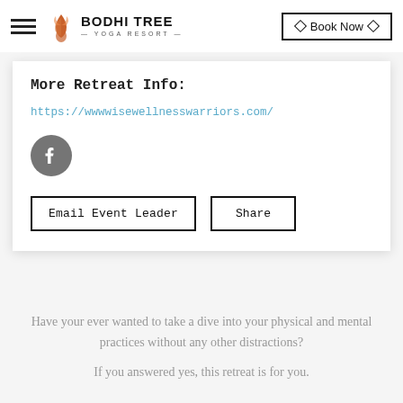BODHI TREE YOGA RESORT — Book Now
More Retreat Info:
https://wwwwisewellnesswarriors.com/
[Figure (logo): Facebook icon — dark grey circle with white 'f' letter]
Email Event Leader   Share
Have your ever wanted to take a dive into your physical and mental practices without any other distractions?
If you answered yes, this retreat is for you.